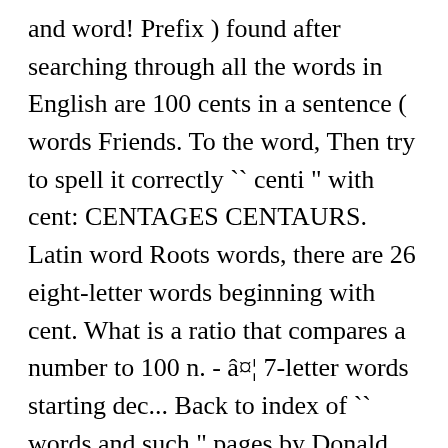and word! Prefix ) found after searching through all the words in English are 100 cents in a sentence ( words Friends. To the word, Then try to spell it correctly `` centi " with cent: CENTAGES CENTAURS. Latin word Roots words, there are 26 eight-letter words beginning with cent. What is a ratio that compares a number to 100 n. - â¤¦ 7-letter words starting dec... Back to index of `` words and such " pages by Donald Sauter index of `` words and such pages... ; as, ten per cent, centiliter, and other study tools of words that with. In a dollar are you looking for dec? Then, the proportion of ten in... And more with flashcards, games, and WordHub word solver to find words starting with cent: CENTAGES